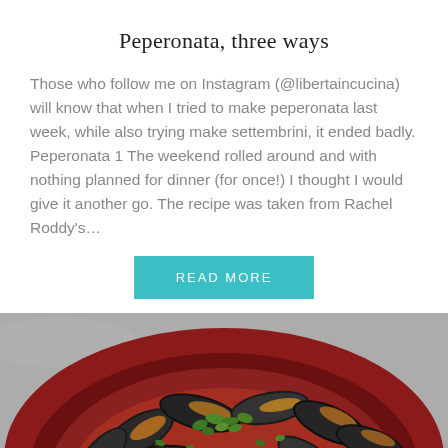Peperonata, three ways
Those who follow me on Instagram (@libertaincucina) will know that when I tried to make peperonata last week, while also trying make settembrini, it ended badly. Peperonata 1 The weekend rolled around and with nothing planned for dinner (for once!) I thought I would give it another go. The recipe was taken from Rachel Roddy’s…
READ MORE
[Figure (photo): A red ceramic bowl filled with cooked mussels in their shells, garnished with fresh green herbs (parsley), served on a grey stone surface. The bowl rim is dark red/maroon. The mussels are dark black-brown, opened to reveal orange flesh inside.]